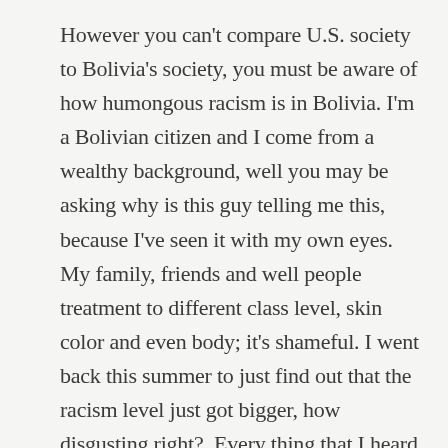However you can't compare U.S. society to Bolivia's society, you must be aware of how humongous racism is in Bolivia. I'm a Bolivian citizen and I come from a wealthy background, well you may be asking why is this guy telling me this, because I've seen it with my own eyes. My family, friends and well people treatment to different class level, skin color and even body; it's shameful. I went back this summer to just find out that the racism level just got bigger, how disgusting right?. Every thing that I heard was related to why the